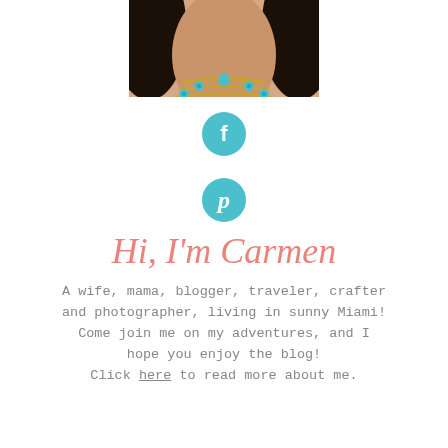[Figure (photo): Cropped photo of a woman wearing gold chain necklaces with turquoise/teal floral accents, dark hair visible, white background]
[Figure (illustration): Teal circular Facebook icon with white 'f' logo]
[Figure (illustration): Teal circular Pinterest icon with white 'p' logo]
Hi, I'm Carmen
A wife, mama, blogger, traveler, crafter and photographer, living in sunny Miami! Come join me on my adventures, and I hope you enjoy the blog! Click here to read more about me.